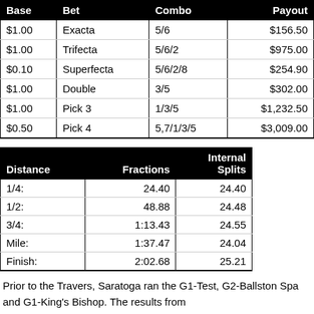| Base | Bet | Combo | Payout |
| --- | --- | --- | --- |
| $1.00 | Exacta | 5/6 | $156.50 |
| $1.00 | Trifecta | 5/6/2 | $975.00 |
| $0.10 | Superfecta | 5/6/2/8 | $254.90 |
| $1.00 | Double | 3/5 | $302.00 |
| $1.00 | Pick 3 | 1/3/5 | $1,232.50 |
| $0.50 | Pick 4 | 5,7/1/3/5 | $3,009.00 |
| Distance | Fractions | Internal Splits |
| --- | --- | --- |
| 1/4: | 24.40 | 24.40 |
| 1/2: | 48.88 | 24.48 |
| 3/4: | 1:13.43 | 24.55 |
| Mile: | 1:37.47 | 24.04 |
| Finish: | 2:02.68 | 25.21 |
Prior to the Travers, Saratoga ran the G1-Test, G2-Ballston Spa and G1-King's Bishop. The results from